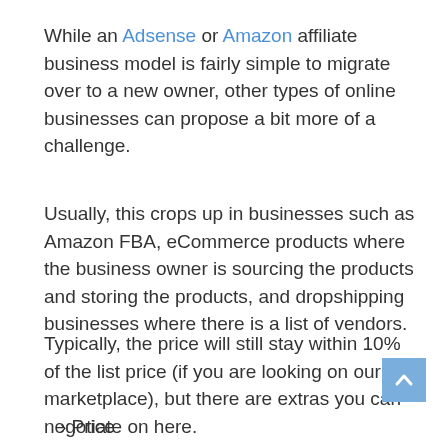While an Adsense or Amazon affiliate business model is fairly simple to migrate over to a new owner, other types of online businesses can propose a bit more of a challenge.
Usually, this crops up in businesses such as Amazon FBA, eCommerce products where the business owner is sourcing the products and storing the products, and dropshipping businesses where there is a list of vendors.
Typically, the price will still stay within 10% of the list price (if you are looking on our marketplace), but there are extras you can negotiate on here.
› Price